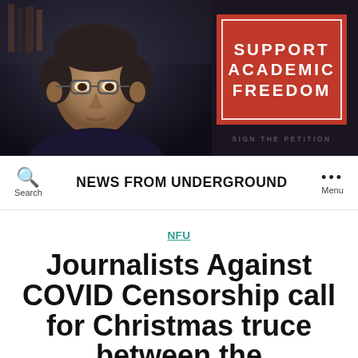[Figure (photo): Banner image showing a man with glasses on the left side and a red 'Support Academic Freedom' box with white border on the right, with 'SIGN THE PETITION' text below the box]
NEWS FROM UNDERGROUND
NFU
Journalists Against COVID Censorship call for Christmas truce between the